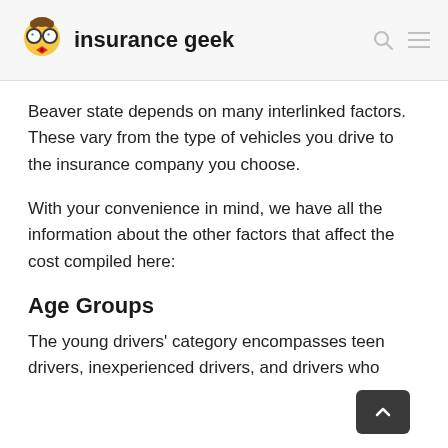insurance geek
Beaver state depends on many interlinked factors. These vary from the type of vehicles you drive to the insurance company you choose.
With your convenience in mind, we have all the information about the other factors that affect the cost compiled here:
Age Groups
The young drivers' category encompasses teen drivers, inexperienced drivers, and drivers who